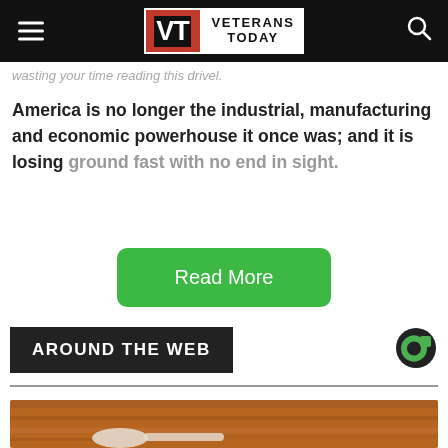Veterans Today
wasting your time reading this drivel.
America is no longer the industrial, manufacturing and economic powerhouse it once was; and it is losing ground fast with no end in sight.
Read More
AROUND THE WEB
[Figure (photo): Close-up photo of a spoon on a wooden surface background]